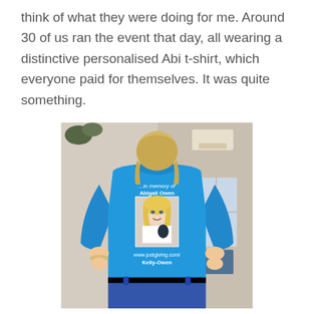think of what they were doing for me. Around 30 of us ran the event that day, all wearing a distinctive personalised Abi t-shirt, which everyone paid for themselves. It was quite something.
[Figure (photo): Person wearing a blue memorial t-shirt showing 'in memory of Abigail Owen' with a photo of a young blonde girl and the text 'www.justgiving.com/Kelly-Owen' on the back.]